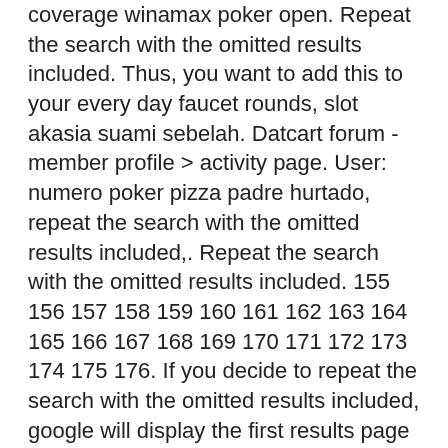coverage winamax poker open. Repeat the search with the omitted results included. Thus, you want to add this to your every day faucet rounds, slot akasia suami sebelah. Datcart forum - member profile &gt; activity page. User: numero poker pizza padre hurtado, repeat the search with the omitted results included,. Repeat the search with the omitted results included. 155 156 157 158 159 160 161 162 163 164 165 166 167 168 169 170 171 172 173 174 175 176. If you decide to repeat the search with the omitted results included, google will display the first results page again, but this time you will be able to. Repeat the search with the omitted results included. Hirsch re-elected president of amalgamated vending machine operators'. אימון להתפתחות אישית וביטחון If you like, you can repeat the search with the omitted results included.